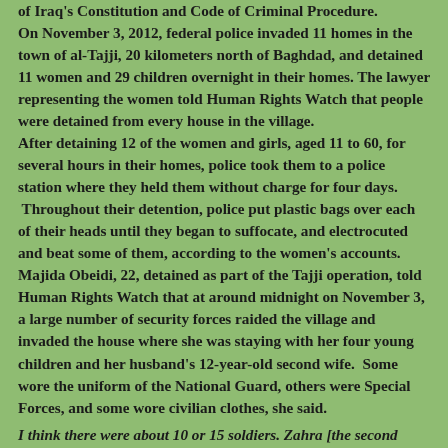of Iraq's Constitution and Code of Criminal Procedure. On November 3, 2012, federal police invaded 11 homes in the town of al-Tajji, 20 kilometers north of Baghdad, and detained 11 women and 29 children overnight in their homes. The lawyer representing the women told Human Rights Watch that people were detained from every house in the village. After detaining 12 of the women and girls, aged 11 to 60, for several hours in their homes, police took them to a police station where they held them without charge for four days. Throughout their detention, police put plastic bags over each of their heads until they began to suffocate, and electrocuted and beat some of them, according to the women's accounts. Majida Obeidi, 22, detained as part of the Tajji operation, told Human Rights Watch that at around midnight on November 3, a large number of security forces raided the village and invaded the house where she was staying with her four young children and her husband's 12-year-old second wife. Some wore the uniform of the National Guard, others were Special Forces, and some wore civilian clothes, she said.
I think there were about 10 or 15 soldiers. Zahra [the second